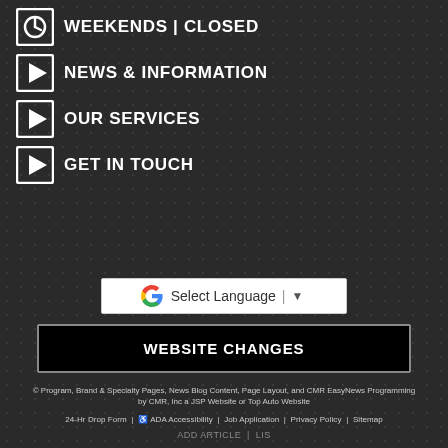WEEKENDS | CLOSED
NEWS & INFORMATION
OUR SERVICES
GET IN TOUCH
Select Language
WEBSITE CHANGES
© Program, Brand & Specialty Pages, News Blog Content, Page Layout, and CMR EasyNews Programming by CMR, Inc a JSP Website or Top Auto Website
24-Hr Drop Form | ADA Accessibility | Job Application | Privacy Policy | Sitemap
ADD ARTICLE | LIS